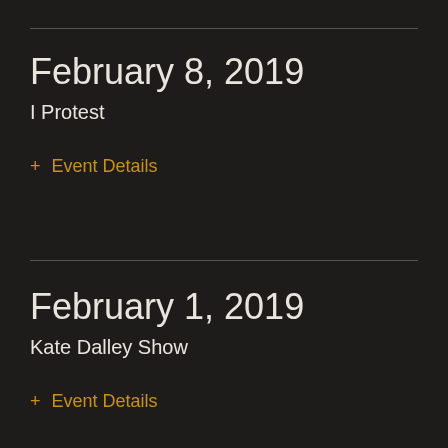February 8, 2019
I Protest
+ Event Details
February 1, 2019
Kate Dalley Show
+ Event Details